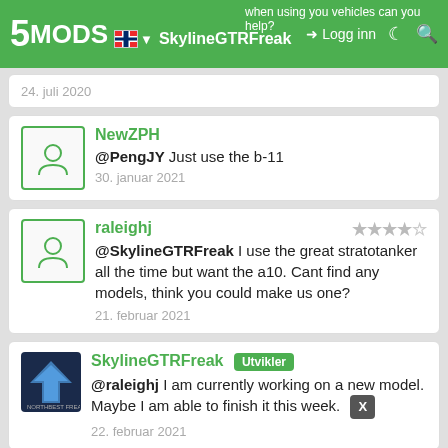5MODS — SkylineGTRFreak — Logg inn
24. juli 2020
NewZPH
@PengJY Just use the b-11
30. januar 2021
raleighj
@SkylineGTRFreak I use the great stratotanker all the time but want the a10. Cant find any models, think you could make us one?
21. februar 2021
SkylineGTRFreak Utvikler
@raleighj I am currently working on a new model. Maybe I am able to finish it this week.
22. februar 2021
idog799